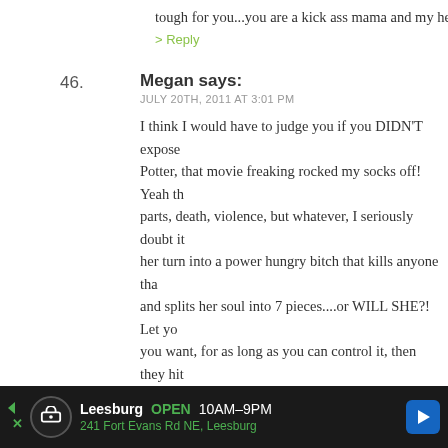tough for you...you are a kick ass mama and my hero.
> Reply
46. Megan says:
JULY 20TH, 2011 AT 3:01 PM

I think I would have to judge you if you DIDN'T expose Potter, that movie freaking rocked my socks off! Yeah th parts, death, violence, but whatever, I seriously doubt it her turn into a power hungry bitch that kills anyone tha and splits her soul into 7 pieces....or WILL SHE?! Let yo you want, for as long as you can control it, then they hit and just go to their cool friend's house where her paren movies you guys watch My mother was ridiculously we watched as kids, although I remember being very yo crazy over Legend (you knooooowww, the one with Tom funny now that I think about it, because while I couldn't movies when I was younger, my dad was taking me to h with him every fall and there was no objection to that. seven year old self going to adult themed (as in scary p
[Figure (infographic): Advertisement bar at bottom: Leesburg OPEN 10AM-9PM, 241 Fort Evans Rd NE, Leesburg]